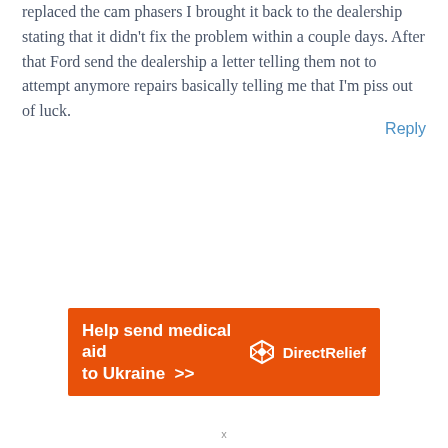replaced the cam phasers I brought it back to the dealership stating that it didn't fix the problem within a couple days. After that Ford send the dealership a letter telling them not to attempt anymore repairs basically telling me that I'm piss out of luck.
Reply
[Figure (other): Orange advertisement banner for Direct Relief: 'Help send medical aid to Ukraine >>' with Direct Relief logo on the right]
x